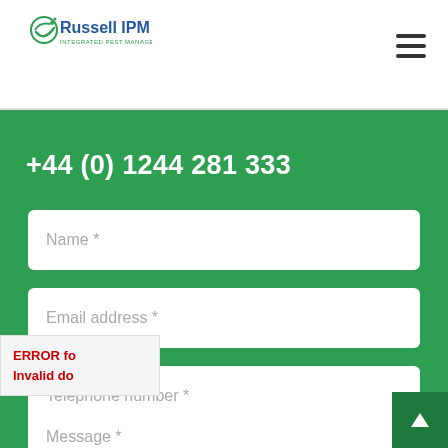[Figure (logo): Russell IPM logo — green checkmark and leaf icon with blue and green text]
+44 (0) 1244 281 333
Name *
Email address *
Telephone number *
Message *
ERROR fo
Invalid do